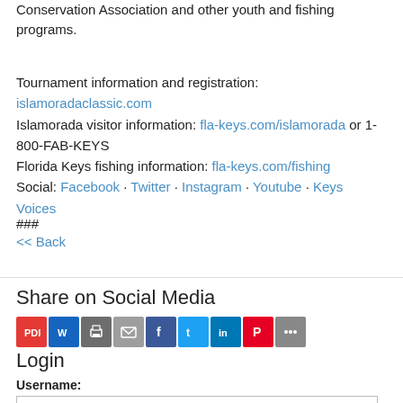Conservation Association and other youth and fishing programs.
Tournament information and registration: islamoradaclassic.com
Islamorada visitor information: fla-keys.com/islamorada or 1-800-FAB-KEYS
Florida Keys fishing information: fla-keys.com/fishing
Social: Facebook · Twitter · Instagram · Youtube · Keys Voices
###
<< Back
Share on Social Media
[Figure (infographic): Row of social sharing icons: PDF, Word, Print, Email, Facebook, Twitter, LinkedIn, Pinterest, More]
Login
Username: